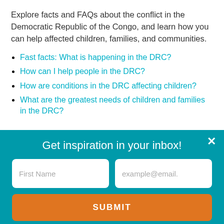Explore facts and FAQs about the conflict in the Democratic Republic of the Congo, and learn how you can help affected children, families, and communities.
Fast facts: What is happening in the DRC?
How can I help people in the DRC?
How are conditions in the DRC affecting children?
What are the greatest needs of children and families in the DRC?
Get inspiration in your inbox!